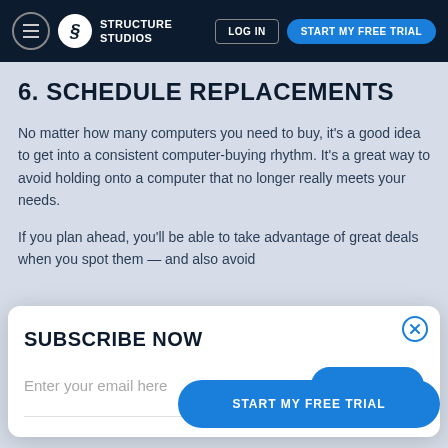Structure Studios | LOG IN | START MY FREE TRIAL
6. SCHEDULE REPLACEMENTS
No matter how many computers you need to buy, it’s a good idea to get into a consistent computer-buying rhythm. It’s a great way to avoid holding onto a computer that no longer really meets your needs.
If you plan ahead, you’ll be able to take advantage of great deals when you spot them — and also avoid
SUBSCRIBE NOW
Enter your email here
Buy an…shed computers
START MY FREE TRIAL